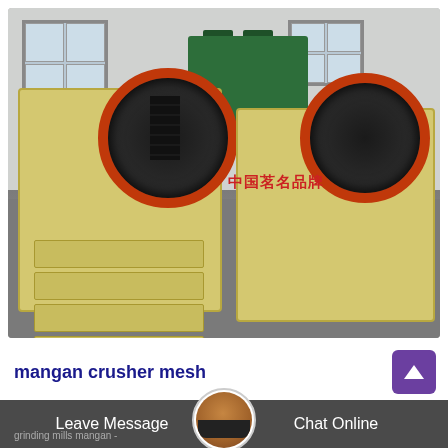[Figure (photo): Two large yellow jaw crushers with black and red flywheels sitting on a factory floor. Chinese text '中国茗名品牌' is printed in red on the machine. Green industrial machinery visible in the background.]
mangan crusher mesh
Leave Message
Chat Online
grinding mills mangan -